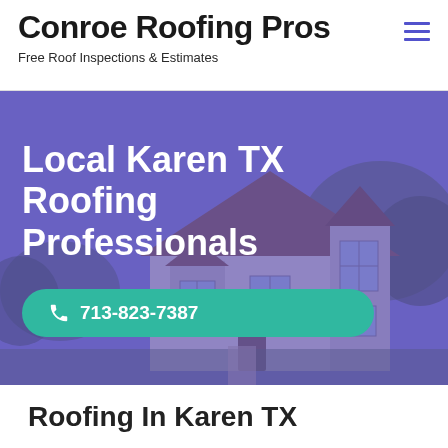Conroe Roofing Pros
Free Roof Inspections & Estimates
[Figure (screenshot): Hero banner with purple-overlaid photo of a two-story house with a steep roof, surrounded by trees. White bold text reads 'Local Karen TX Roofing Professionals' with a teal call-to-action button showing phone number 713-823-7387.]
Roofing In Karen TX